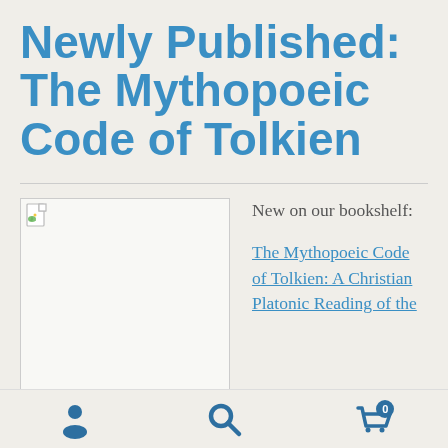Newly Published: The Mythopoeic Code of Tolkien
[Figure (photo): Book cover image placeholder (broken image icon shown)]
New on our bookshelf:
The Mythopoeic Code of Tolkien: A Christian Platonic Reading of the
User icon, Search icon, Shopping cart with badge 0